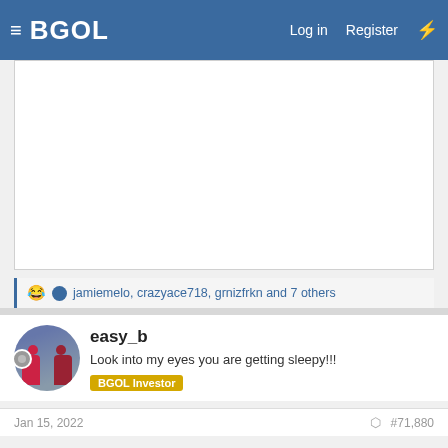BGOL — Log in  Register
[Figure (other): White blank post content area]
jamiemelo, crazyace718, grnizfrkn and 7 others
easy_b
Look into my eyes you are getting sleepy!!!  BGOL Investor
Jan 15, 2022  #71,880